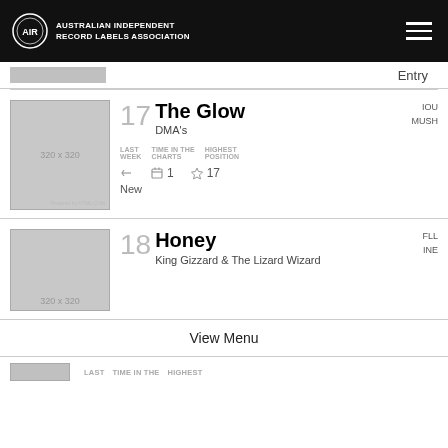Australian Independent Record Labels Association
Entry
17 The Glow – DMA's, IOU MUSH, Last Week: New, Time in the Charts: 1, Highest Position: 17
18 Honey – King Gizzard & The Lizard Wizard, FLL INE
View Menu
LAST  TIME IN THE  HIGHEST